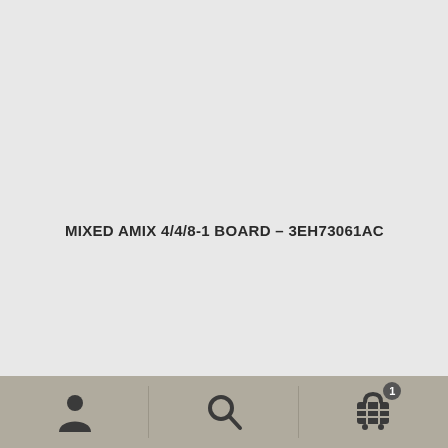MIXED AMIX 4/4/8-1 BOARD – 3EH73061AC
[Figure (screenshot): Mobile app bottom navigation bar with three sections: user/account icon on the left, search icon in the center, and shopping cart icon with badge showing '1' on the right.]